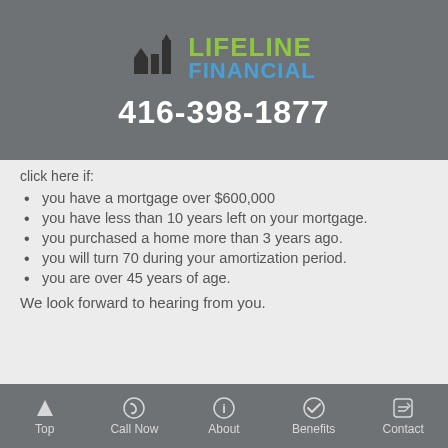[Figure (logo): Lifeline Financial logo with bar chart icon and company name in green and blue]
416-398-1877
click here if:
you have a mortgage over $600,000
you have less than 10 years left on your mortgage.
you purchased a home more than 3 years ago.
you will turn 70 during your amortization period.
you are over 45 years of age.
We look forward to hearing from you.
Top  Call Now  About  Benefits  Contact